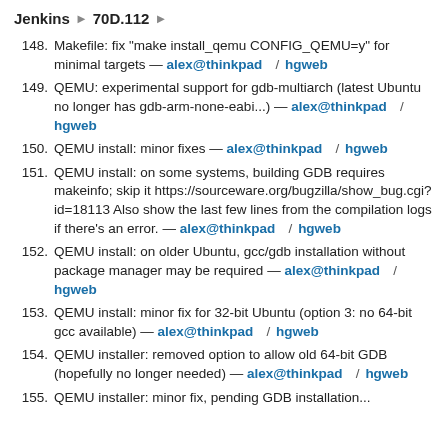Jenkins ▶ 70D.112 ▶
148. Makefile: fix "make install_qemu CONFIG_QEMU=y" for minimal targets — alex@thinkpad / hgweb
149. QEMU: experimental support for gdb-multiarch (latest Ubuntu no longer has gdb-arm-none-eabi...) — alex@thinkpad / hgweb
150. QEMU install: minor fixes — alex@thinkpad / hgweb
151. QEMU install: on some systems, building GDB requires makeinfo; skip it https://sourceware.org/bugzilla/show_bug.cgi?id=18113 Also show the last few lines from the compilation logs if there's an error. — alex@thinkpad / hgweb
152. QEMU install: on older Ubuntu, gcc/gdb installation without package manager may be required — alex@thinkpad / hgweb
153. QEMU install: minor fix for 32-bit Ubuntu (option 3: no 64-bit gcc available) — alex@thinkpad / hgweb
154. QEMU installer: removed option to allow old 64-bit GDB (hopefully no longer needed) — alex@thinkpad / hgweb
155. QEMU installer: minor fix, pending GDB installation...